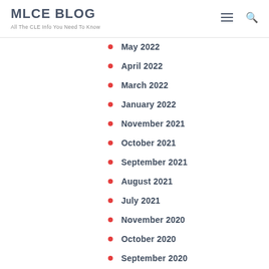MLCE BLOG — All The CLE Info You Need To Know
May 2022
April 2022
March 2022
January 2022
November 2021
October 2021
September 2021
August 2021
July 2021
November 2020
October 2020
September 2020
August 2020